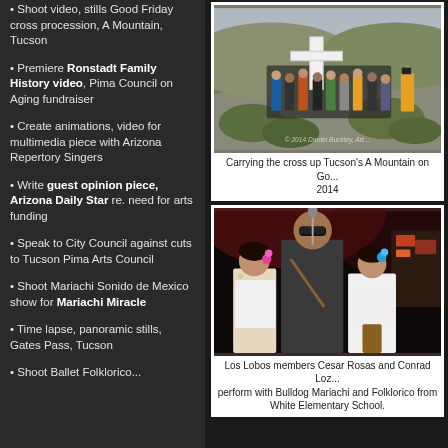• Shoot video, stills Good Friday cross procession, A Mountain, Tucson
• Premiere Ronstadt Family History video, Pima Council on Aging fundraiser
• Create animations, video for multimedia piece with Arizona Repertory Singers
• Write guest opinion piece, Arizona Daily Star re. need for arts funding
• Speak to City Council against cuts to Tucson Pima Arts Council
• Shoot Mariachi Sonido de Mexico show for Mariachi Miracle
• Time lapse, panoramic stills, Gates Pass, Tucson
• Shoot Ballet Folklorico...
[Figure (photo): People carrying a large white cross up a hillside road in Tucson during Good Friday cross procession, 2014]
Carrying the cross up Tucson's A Mountain on Go... 2014
[Figure (photo): Los Lobos members Cesar Rosas and Conrad Loza perform with Bulldog Mariachi and Folklorico from White Elementary School on stage]
Los Lobos members Cesar Rosas and Conrad Loza perform with Bulldog Mariachi and Folklorico from White Elementary School.